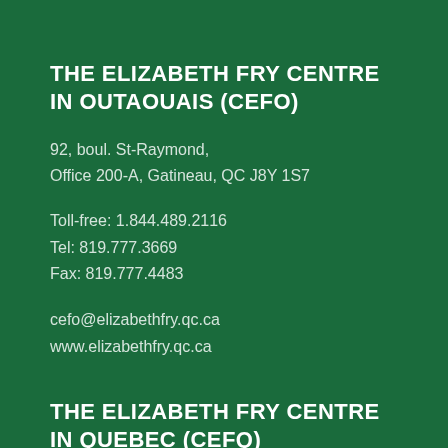THE ELIZABETH FRY CENTRE IN OUTAOUAIS (CEFO)
92, boul. St-Raymond,
Office 200-A, Gatineau, QC J8Y 1S7
Toll-free: 1.844.489.2116
Tel: 819.777.3669
Fax: 819.777.4483
cefo@elizabethfry.qc.ca
www.elizabethfry.qc.ca
THE ELIZABETH FRY CENTRE IN QUEBEC (CEFQ)
920, rue Richelieu,